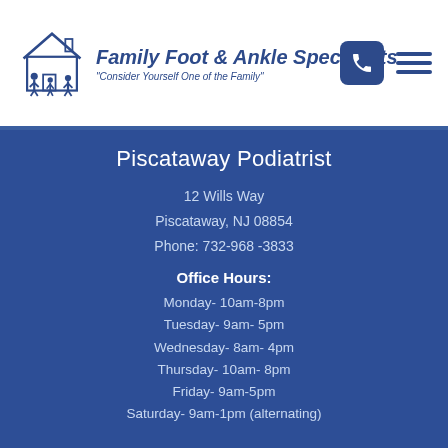[Figure (logo): Family Foot & Ankle Specialists logo with house and family silhouette icon, text reading 'Family Foot & Ankle Specialists' and tagline 'Consider Yourself One of the Family']
Piscataway Podiatrist
12 Wills Way
Piscataway, NJ 08854
Phone: 732-968-3833
Office Hours:
Monday- 10am-8pm
Tuesday- 9am- 5pm
Wednesday- 8am- 4pm
Thursday- 10am- 8pm
Friday- 9am-5pm
Saturday- 9am-1pm (alternating)